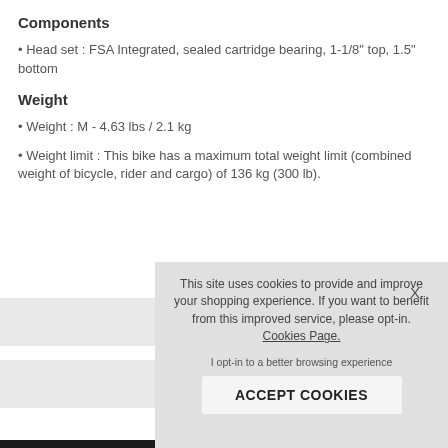Components
Head set : FSA Integrated, sealed cartridge bearing, 1-1/8" top, 1.5" bottom
Weight
Weight : M - 4.63 lbs / 2.1 kg
Weight limit : This bike has a maximum total weight limit (combined weight of bicycle, rider and cargo) of 136 kg (300 lb).
This site uses cookies to provide and improve your shopping experience. If you want to benefit from this improved service, please opt-in. Cookies Page.
I opt-in to a better browsing experience
ACCEPT COOKIES